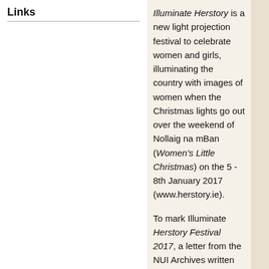Links
Illuminate Herstory is a new light projection festival to celebrate women and girls, illuminating the country with images of women when the Christmas lights go out over the weekend of Nollaig na mBan (Women's Little Christmas) on the 5 - 8th January 2017 (www.herstory.ie).
To mark Illuminate Herstory Festival 2017, a letter from the NUI Archives written by Anna Dengel, a graduate of the National University of Ireland.
Anna Dengel graduated from University College Cork in 1919 with a BSc